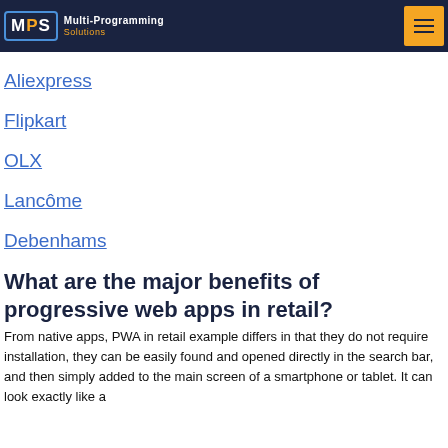MPS Multi-Programming Solutions
Aliexpress
Flipkart
OLX
Lancôme
Debenhams
What are the major benefits of progressive web apps in retail?
From native apps, PWA in retail example differs in that they do not require installation, they can be easily found and opened directly in the search bar, and then simply added to the main screen of a smartphone or tablet. It can look exactly like a